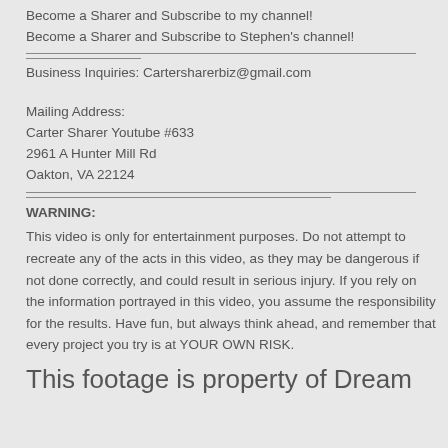Become a Sharer and Subscribe to my channel!
Become a Sharer and Subscribe to Stephen's channel!
Business Inquiries: Cartersharerbiz@gmail.com
Mailing Address:
Carter Sharer Youtube #633
2961 A Hunter Mill Rd
Oakton, VA 22124
WARNING:
This video is only for entertainment purposes. Do not attempt to recreate any of the acts in this video, as they may be dangerous if not done correctly, and could result in serious injury. If you rely on the information portrayed in this video, you assume the responsibility for the results. Have fun, but always think ahead, and remember that every project you try is at YOUR OWN RISK.
This footage is property of Dream